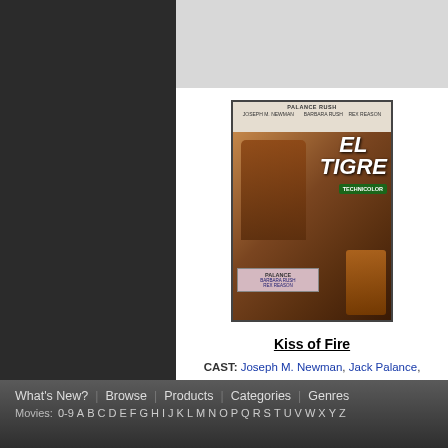[Figure (other): Movie poster for 'El Tigre' (Kiss of Fire) featuring Jack Palance, Barbara Rush, Rex Reason in Technicolor]
Kiss of Fire
CAST: Joseph M. Newman, Jack Palance, Barbara Rush, Rex Reason, Martha Hyer,
YEAR: 1955
Viewing Results: 01 - 36 / 73
What's New? | Browse | Products | Categories | Genres Movies: 0-9 A B C D E F G H I J K L M N O P Q R S T U V W X Y Z